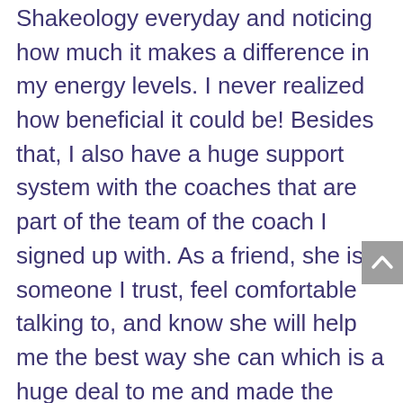Shakeology everyday and noticing how much it makes a difference in my energy levels. I never realized how beneficial it could be! Besides that, I also have a huge support system with the coaches that are part of the team of the coach I signed up with. As a friend, she is someone I trust, feel comfortable talking to, and know she will help me the best way she can which is a huge deal to me and made the decision that much easier!
I have complete faith that I will lose the weight I've regained. I felt so skinny at 180-190 pounds, even though I still wanted to lose 30 more pounds. Now I glance at pictures from that low weight and wish I could be that smal